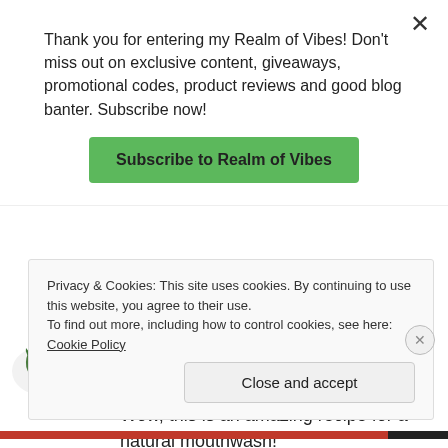Thank you for entering my Realm of Vibes! Don't miss out on exclusive content, giveaways, promotional codes, product reviews and good blog banter. Subscribe now!
Subscribe to Realm of Vibes
[Figure (illustration): Small decorative green leaf/plant avatar icon]
AUGUST 7, 2017 AT 9:22 PM
Wow, this is an amazing recipe for a natural mouthwash!
Privacy & Cookies: This site uses cookies. By continuing to use this website, you agree to their use. To find out more, including how to control cookies, see here: Cookie Policy
Close and accept